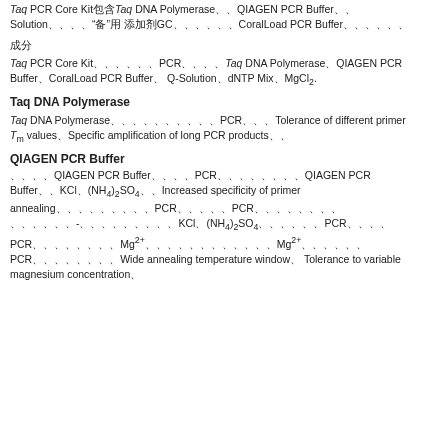Taq PCR Core Kit包含Taq DNA Polymerase、QIAGEN PCR Buffer、Q-Solution、「备」用 添加剂GC以及可选的CoralLoad PCR Buffer和其他组分
成分
Taq PCR Core Kit提供以下PCR组分：Taq DNA Polymerase、QIAGEN PCR Buffer、CoralLoad PCR Buffer、Q-Solution、dNTP Mix、MgCl2.
Taq DNA Polymerase
Taq DNA Polymerase经过优化，适用于常规PCR扩增。Tolerance of different primer Tm values、Specific amplification of long PCR products等特点
QIAGEN PCR Buffer
独特的QIAGEN PCR Buffer优化PCR反应条件。该QIAGEN PCR Buffer含KCl、(NH4)2SO4等。Increased specificity of primer annealing提高引物退火特异性，使PCR产物特异性更高。PCR引物退火温度范围宽，可避免非特异-扩增和引物二聚体形成。KCl、(NH4)2SO4优化后，PCR反应 PCR条件更佳，提高Mg2+浓度范围，从而提高Mg2+耐受性，使 PCR扩增条件更为宽松。Wide annealing temperature window、Tolerance to variable magnesium concentration等